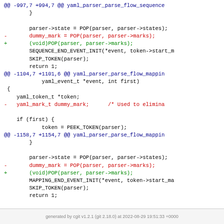[Figure (screenshot): Code diff showing changes to yaml_parser_parse_flow_sequence and yaml_parser_parse_flow_mapping functions, removing dummy_mark variable usage and replacing with void cast of POP macro.]
generated by cgit v1.2.1 (git 2.18.0) at 2022-08-29 19:51:33 +0000